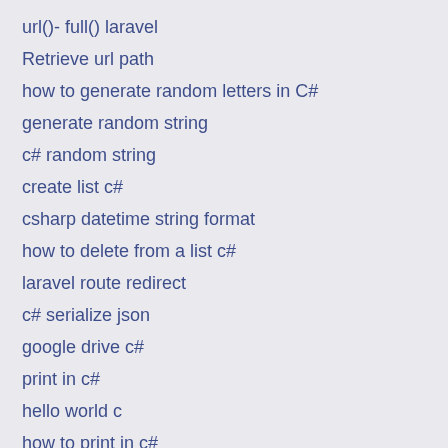url()- full() laravel
Retrieve url path
how to generate random letters in C#
generate random string
c# random string
create list c#
csharp datetime string format
how to delete from a list c#
laravel route redirect
c# serialize json
google drive c#
print in c#
hello world c
how to print in c#